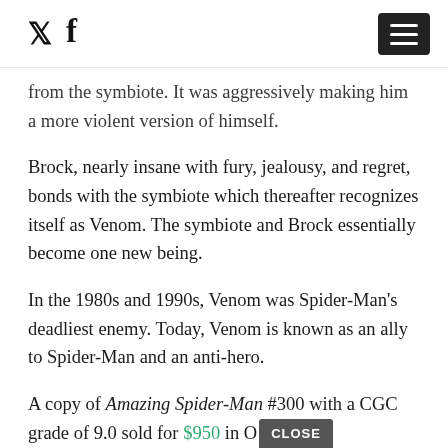[Twitter icon] [Facebook icon] [Menu button]
from the symbiote. It was aggressively making him a more violent version of himself.
Brock, nearly insane with fury, jealousy, and regret, bonds with the symbiote which thereafter recognizes itself as Venom. The symbiote and Brock essentially become one new being.
In the 1980s and 1990s, Venom was Spider-Man's deadliest enemy. Today, Venom is known as an ally to Spider-Man and an anti-hero.
A copy of Amazing Spider-Man #300 with a CGC grade of 9.0 sold for $950 in October 2019